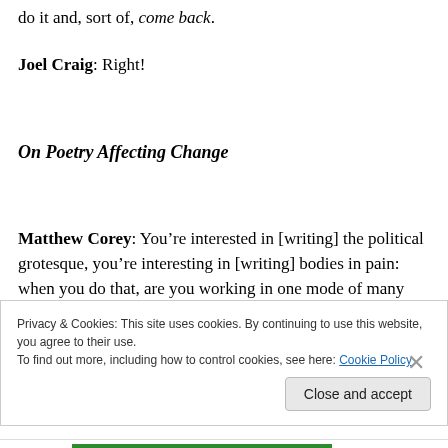do it and, sort of, come back.
Joel Craig: Right!
On Poetry Affecting Change
Matthew Corey: You’re interested in [writing] the political grotesque, you’re interesting in [writing] bodies in pain: when you do that, are you working in one mode of many
Privacy & Cookies: This site uses cookies. By continuing to use this website, you agree to their use.
To find out more, including how to control cookies, see here: Cookie Policy
Close and accept